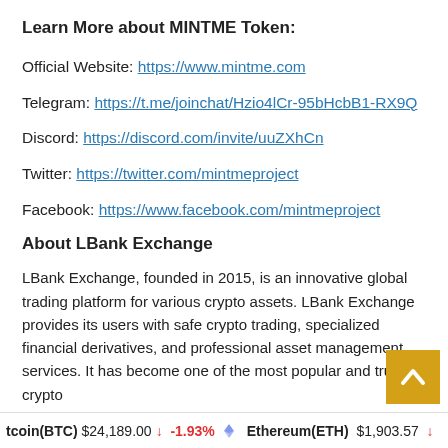Learn More about MINTME Token:
Official Website: https://www.mintme.com
Telegram: https://t.me/joinchat/Hzio4lCr-95bHcbB1-RX9Q
Discord: https://discord.com/invite/uuZXhCn
Twitter: https://twitter.com/mintmeproject
Facebook: https://www.facebook.com/mintmeproject
About LBank Exchange
LBank Exchange, founded in 2015, is an innovative global trading platform for various crypto assets. LBank Exchange provides its users with safe crypto trading, specialized financial derivatives, and professional asset management services. It has become one of the most popular and trusted crypto
Bitcoin(BTC) $24,189.00 ↓ -1.93%   Ethereum(ETH) $1,903.57 ↓